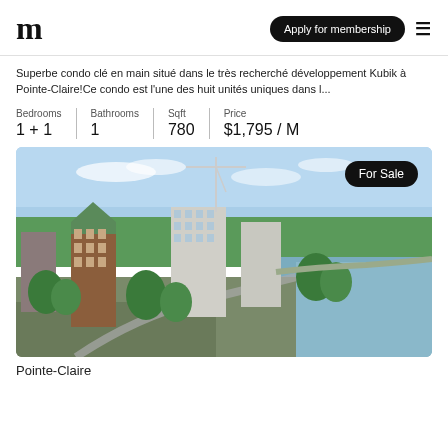m | Apply for membership
Superbe condo clé en main situé dans le très recherché développement Kubik à Pointe-Claire!Ce condo est l'une des huit unités uniques dans l...
| Bedrooms | Bathrooms | Sqft | Price |
| --- | --- | --- | --- |
| 1 + 1 | 1 | 780 | $1,795 / M |
[Figure (photo): Aerial view of Pointe-Claire waterfront with buildings, trees, a crane under construction, and a lake or river on the right side. A 'For Sale' badge is overlaid in the top right corner of the photo.]
Pointe-Claire